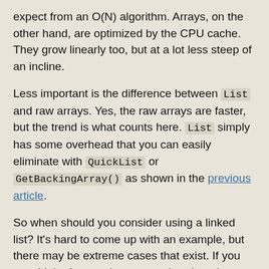expect from an O(N) algorithm. Arrays, on the other hand, are optimized by the CPU cache. They grow linearly too, but at a lot less steep of an incline.
Less important is the difference between List and raw arrays. Yes, the raw arrays are faster, but the trend is what counts here. List simply has some overhead that you can easily eliminate with QuickList or GetBackingArray() as shown in the previous article.
So when should you consider using a linked list? It's hard to come up with an example, but there may be extreme cases that exist. If you can think of any or have any other thoughts about linked lists and arrays, let me know in the comments!
Comments